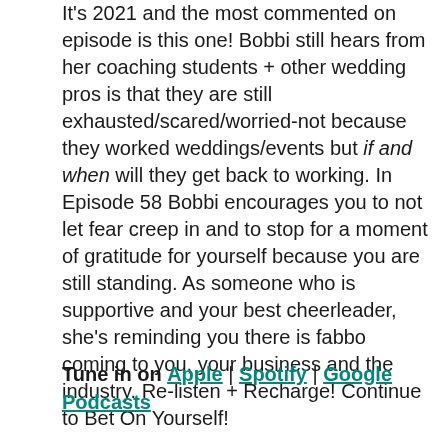It's 2021 and the most commented on episode is this one!  Bobbi still  hears from her coaching students + other wedding pros is that they are still exhausted/scared/worried-not because they worked weddings/events but if and when will they get back to working.  In Episode 58 Bobbi encourages you to not let fear creep in and to stop for a moment of gratitude for yourself because you are still standing.  As someone who is supportive and your best cheerleader, she's reminding you there is fabbo coming to you, your business and the industry. Re-listen + Recharge! Continue to Bet On Yourself!
Tune in on Apple | Spotify | Google Podcasts